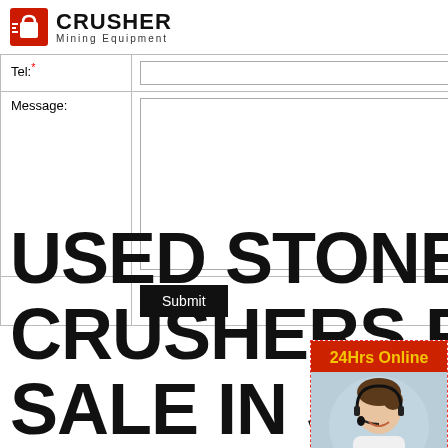[Figure (logo): Crusher Mining Equipment logo with red shopping bag icon and bold CRUSHER text]
| Tel:* |  |
| Message: |  |
|  | Submit |
USED STONE CRUSHERS FOR SALE IN SOU...
[Figure (photo): 24Hrs Online banner with photo of woman wearing headset, Need questions & suggestion text, Chat Now button, Enquiry section, limingjlmofen@sina.com email]